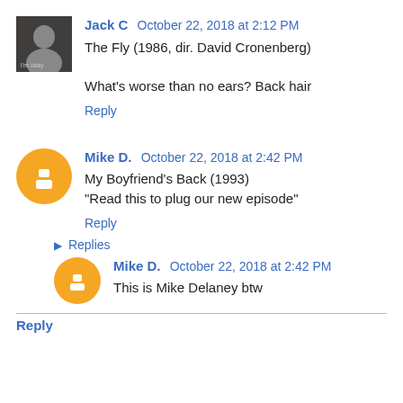[Figure (photo): Avatar thumbnail photo of Jack C, small square image]
Jack C  October 22, 2018 at 2:12 PM
The Fly (1986, dir. David Cronenberg)

What's worse than no ears? Back hair
Reply
[Figure (logo): Orange circle Blogger avatar icon for Mike D.]
Mike D.  October 22, 2018 at 2:42 PM
My Boyfriend's Back (1993)
"Read this to plug our new episode"
Reply
▸ Replies
[Figure (logo): Orange circle Blogger avatar icon for Mike D. (nested reply)]
Mike D.  October 22, 2018 at 2:42 PM
This is Mike Delaney btw
Reply